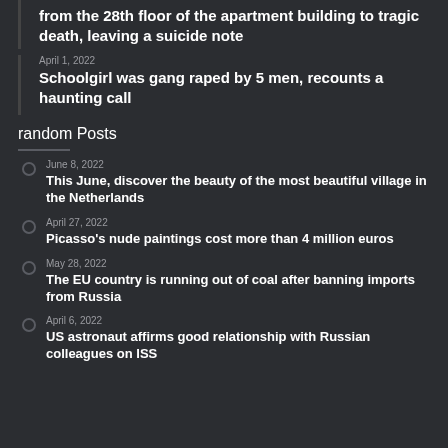from the 28th floor of the apartment building to tragic death, leaving a suicide note
April 1, 2022 — Schoolgirl was gang raped by 5 men, recounts a haunting call
random Posts
June 8, 2022 — This June, discover the beauty of the most beautiful village in the Netherlands
April 27, 2022 — Picasso's nude paintings cost more than 4 million euros
May 28, 2022 — The EU country is running out of coal after banning imports from Russia
April 6, 2022 — US astronaut affirms good relationship with Russian colleagues on ISS